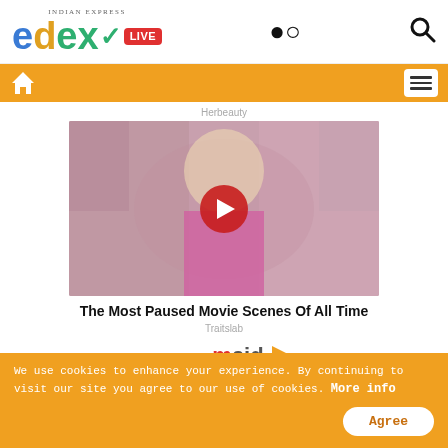edex LIVE - Indian Express
[Figure (logo): edexLIVE logo with Indian Express branding and search icon]
[Figure (screenshot): Orange navigation bar with home icon and hamburger menu]
Herbeauty
[Figure (photo): Video thumbnail showing a blonde woman in pink outfit on a floral couch, with a YouTube-style red play button overlay]
The Most Paused Movie Scenes Of All Time
Traitslab
[Figure (logo): maid logo partial advertisement]
We use cookies to enhance your experience. By continuing to visit our site you agree to our use of cookies. More info
Agree